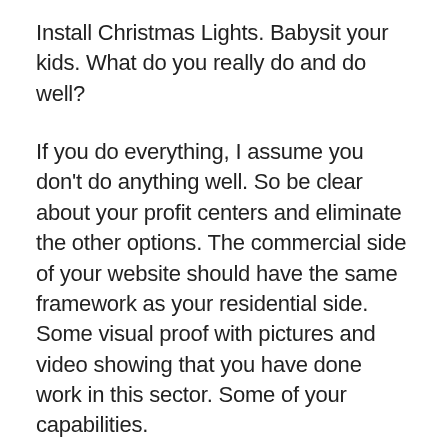Install Christmas Lights. Babysit your kids. What do you really do and do well?
If you do everything, I assume you don't do anything well. So be clear about your profit centers and eliminate the other options. The commercial side of your website should have the same framework as your residential side. Some visual proof with pictures and video showing that you have done work in this sector. Some of your capabilities.
Show off anything you have done that is unique. Challenging. Has a wow factor. Show them pictures of commercial projects